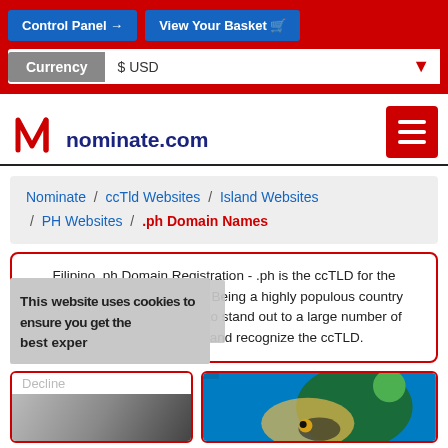Control Panel | View Your Basket | Currency $ USD
[Figure (logo): nominate.com logo with red stylized N and dark blue text]
Nominate / ccTld Websites / Island Websites / PH Websites / .ph Domain Names
Filipino .ph Domain Registration - .ph is the ccTLD for the Republic of the Philippines. Being a highly populous country allows a .ph domain name to stand out to a large number of people who will trust and recognize the ccTLD.
This website uses cookies to ensure you get the best experience
Decline
[Figure (photo): Colorful photo showing a face with artistic paint and a frog]